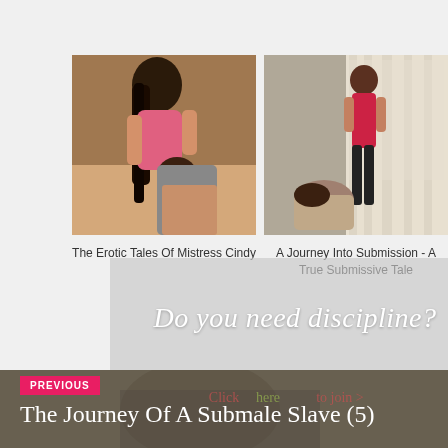[Figure (photo): Thumbnail photo for 'The Erotic Tales Of Mistress Cindy']
The Erotic Tales Of Mistress Cindy
[Figure (photo): Thumbnail photo for 'A Journey Into Submission - A True Submissive Tale']
A Journey Into Submission - A True Submissive Tale
Do you need discipline?
PREVIOUS
The Journey Of A Submale Slave (5)